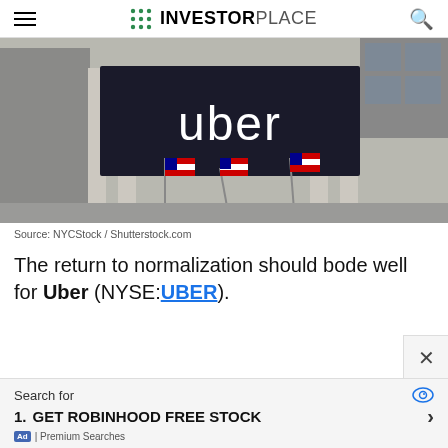INVESTORPLACE
[Figure (photo): Uber banner sign displayed on the New York Stock Exchange building facade, with American flags in the foreground and classical stone columns visible]
Source: NYCStock / Shutterstock.com
The return to normalization should bode well for Uber (NYSE:UBER).
Search for 1. GET ROBINHOOD FREE STOCK | Premium Searches